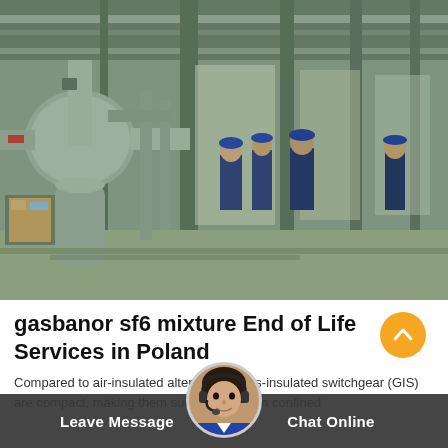[Figure (photo): Interior of an industrial gas-insulated switchgear (GIS) facility in Poland. Large cylindrical SF6 gas-insulated equipment and piping visible in the foreground, with workers in blue uniforms visible in the background corridor between green-painted metal structures.]
gasbanor sf6 mixture End of Life Services in Poland
Compared to air-insulated alternatives, gas-insulated switchgear (GIS) are compact, making them suitable to use in confined